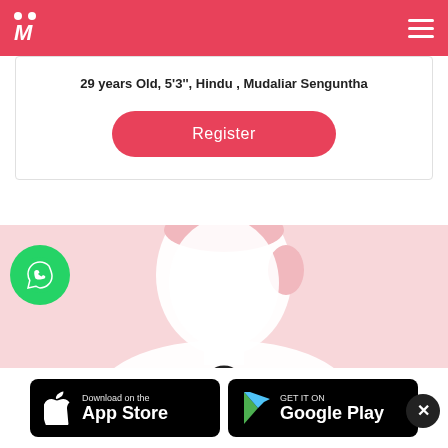[Figure (logo): Matrimony app logo with two white dots above italic white M letter on pink/red background, hamburger menu icon on right]
29 years Old, 5'3'', Hindu , Mudaliar Senguntha
[Figure (other): Register button - pink rounded pill button with white text]
[Figure (photo): Blurred/silhouette female profile photo placeholder on pink background with lock icon at bottom center and WhatsApp icon at bottom left]
[Figure (other): App store download badges: Download on the App Store and GET IT ON Google Play, with close X button]